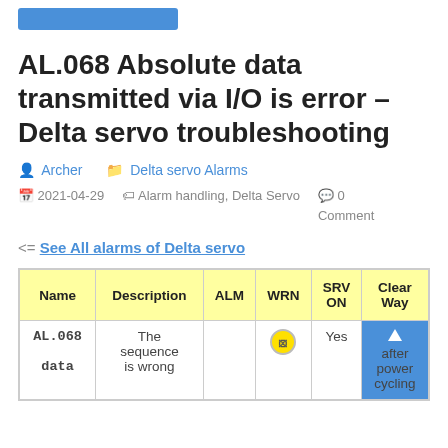AL.068 Absolute data transmitted via I/O is error – Delta servo troubleshooting
Archer   Delta servo Alarms
2021-04-29   Alarm handling, Delta Servo   0 Comment
<= See All alarms of Delta servo
| Name | Description | ALM | WRN | SRV ON | Clear Way |
| --- | --- | --- | --- | --- | --- |
| AL.068
data | The sequence
is wrong |  | ⊗ | Yes | after power cycling |